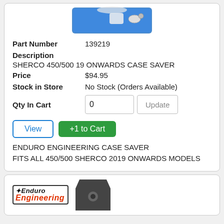[Figure (photo): Product photo showing a case saver part in a blue packaging bag]
Part Number    139219
Description
SHERCO 450/500 19 ONWARDS CASE SAVER
Price    $94.95
Stock in Store    No Stock (Orders Available)
Qty In Cart    0    Update
View    +1 to Cart
ENDURO ENGINEERING CASE SAVER
FITS ALL 450/500 SHERCO 2019 ONWARDS MODELS
[Figure (logo): Enduro Engineering logo with stylized text and a dark metal case saver part shape]